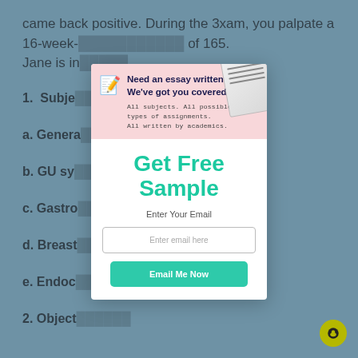came back positive. During the 3xam, you palpate a 16-week- ... of 165. Jane is in...
1. Subje...
a. Genera...
b. GU sy...
c. Gastro...
d. Breast...
e. Endoc...
2. Object...
[Figure (screenshot): Modal popup overlay on a teal/blue background. Pink banner top with pencil icon and text 'Need an essay written? We've got you covered!' with subtext 'All subjects. All possible types of assignments. All written by academics.' Below in white: large green text 'Get Free Sample', 'Enter Your Email' label, email input field, and 'Email Me Now' button in teal. Close X button top right. Notebook decoration on top right of banner.]